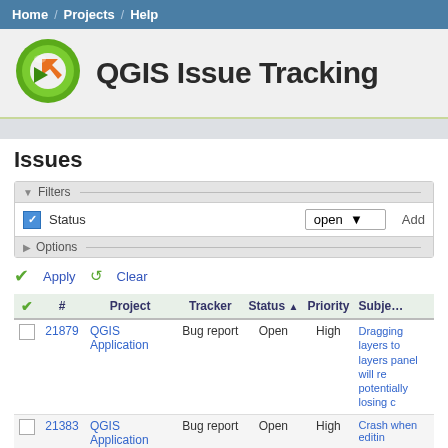Home / Projects / Help
QGIS Issue Tracking
Issues
Filters — Status: open | Options
Apply  Clear
| ✓ | # | Project | Tracker | Status ▲ | Priority | Subject |
| --- | --- | --- | --- | --- | --- | --- |
| ☐ | 21879 | QGIS Application | Bug report | Open | High | Dragging layers to layers panel will re potentially losing c |
| ☐ | 21383 | QGIS Application | Bug report | Open | High | Crash when editin |
| ☐ | 21815 | QGIS Application | Bug report | Open | High | Editing a GeoPack with spaces in the can crash QGIS |
| ☐ | 21401 | QGIS Application | Bug report | Open | High | QGIS crashes usi QSqlDatabase co PostGIS |